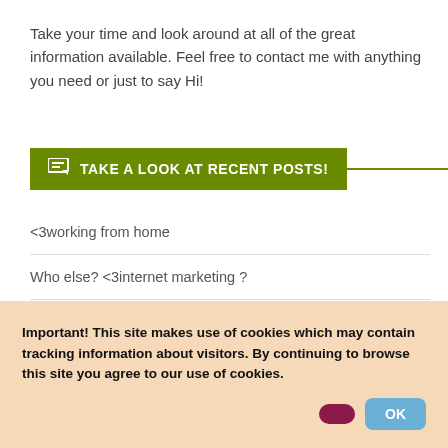Take your time and look around at all of the great information available. Feel free to contact me with anything you need or just to say Hi!
TAKE A LOOK AT RECENT POSTS!
<3working from home
Who else? <3internet marketing ?
Important Info !
Who else? <3working from home ?
Important! This site makes use of cookies which may contain tracking information about visitors. By continuing to browse this site you agree to our use of cookies.